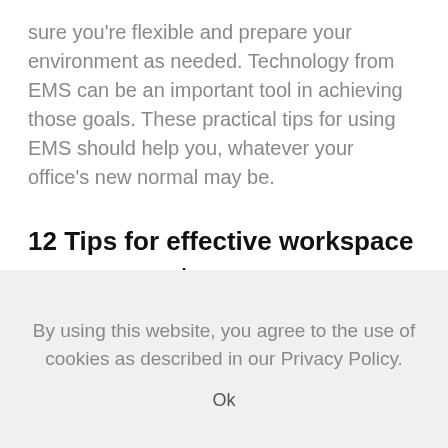sure you're flexible and prepare your environment as needed. Technology from EMS can be an important tool in achieving those goals. These practical tips for using EMS should help you, whatever your office's new normal may be.
12 Tips for effective workspace management
By using this website, you agree to the use of cookies as described in our Privacy Policy.
Ok